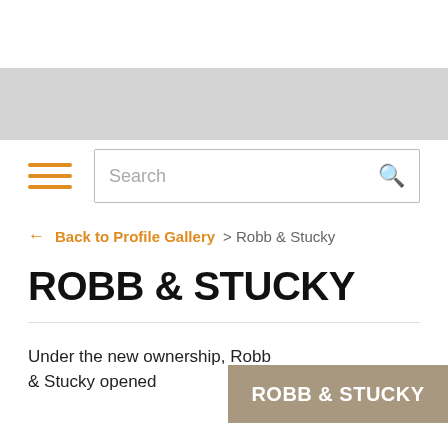[Figure (screenshot): Gray banner placeholder image area at top of webpage]
[Figure (screenshot): Navigation bar with orange hamburger menu icon and search box with placeholder text 'Search' and search icon]
← Back to Profile Gallery > Robb & Stucky
ROBB & STUCKY
Under the new ownership, Robb & Stucky opened
[Figure (screenshot): Tan/beige box with white text 'ROBB & STUCKY']